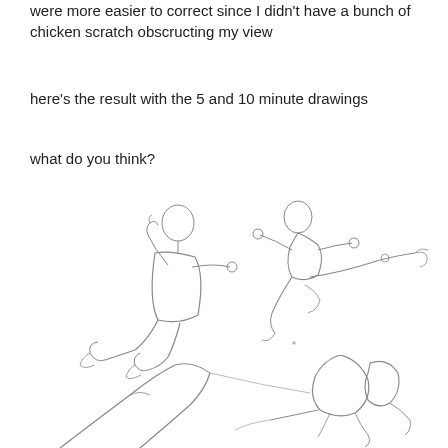were more easier to correct since I didn't have a bunch of chicken scratch obscructing my view
here's the result with the 5 and 10 minute drawings
what do you think?
[Figure (illustration): Gesture/figure sketches showing two human figures in dynamic poses - one seated figure on the left and one flying/leaping figure on the right, drawn in light pencil lines]
[Figure (illustration): Another figure sketch showing a reclining or falling human figure with legs raised, drawn in light pencil lines, partially visible at the bottom of the page]